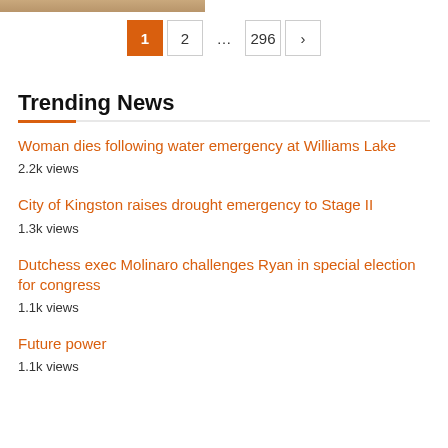[Figure (photo): Partial top image strip visible at the top of the page]
Pagination: 1 (active), 2, ..., 296, >
Trending News
Woman dies following water emergency at Williams Lake
2.2k views
City of Kingston raises drought emergency to Stage II
1.3k views
Dutchess exec Molinaro challenges Ryan in special election for congress
1.1k views
Future power
1.1k views